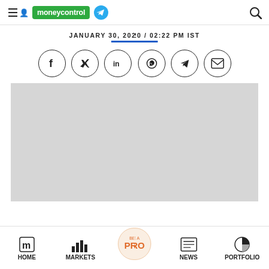moneycontrol
JANUARY 30, 2020 / 02:22 PM IST
[Figure (other): Social sharing icons: Facebook, Twitter, LinkedIn, WhatsApp, Telegram, Email]
[Figure (photo): Gray placeholder image area]
HOME | MARKETS | BE A PRO | NEWS | PORTFOLIO